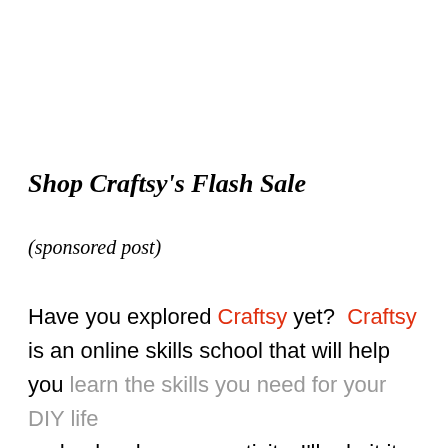Shop Craftsy's Flash Sale
(sponsored post)
Have you explored Craftsy yet?  Craftsy is an online skills school that will help you learn the skills you need for your DIY life and unleash your creativity. I'll admit it took